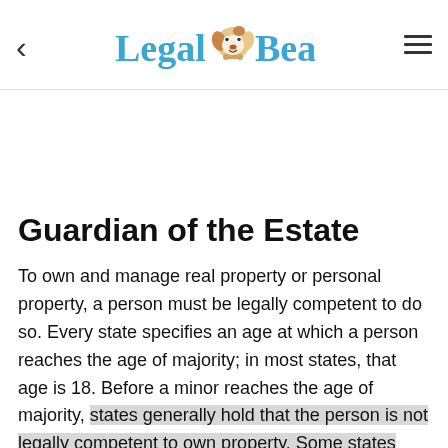[Figure (logo): Legal Beagle logo with stylized text and cartoon beagle dog icon]
Guardian of the Estate
To own and manage real property or personal property, a person must be legally competent to do so. Every state specifies an age at which a person reaches the age of majority; in most states, that age is 18. Before a minor reaches the age of majority, states generally hold that the person is not legally competent to own property. Some states provide